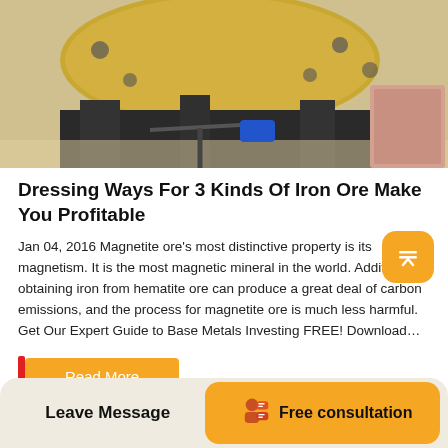[Figure (photo): Industrial mining/milling equipment — large yellow cylindrical drum/ball mill with dark metal frame components and wooden block]
Dressing Ways For 3 Kinds Of Iron Ore Make You Profitable
Jan 04, 2016 Magnetite ore's most distinctive property is its magnetism. It is the most magnetic mineral in the world. Additionally, obtaining iron from hematite ore can produce a great deal of carbon emissions, and the process for magnetite ore is much less harmful. Get Our Expert Guide to Base Metals Investing FREE! Download…
Read More
Leave Message
Free consultation